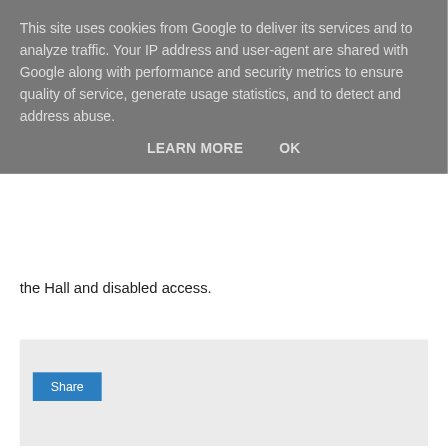This site uses cookies from Google to deliver its services and to analyze traffic. Your IP address and user-agent are shared with Google along with performance and security metrics to ensure quality of service, generate usage statistics, and to detect and address abuse.
LEARN MORE    OK
the Hall and disabled access.
[Figure (screenshot): Share button widget area with light gray background]
Share
< (back navigation button)
Home
View web version
Powered by Blogger.